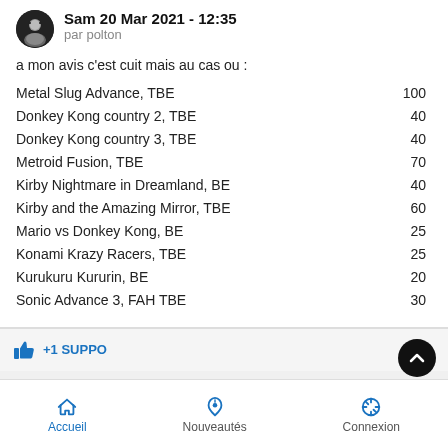Sam 20 Mar 2021 - 12:35
par polton
a mon avis c'est cuit mais au cas ou :
Metal Slug Advance, TBE	100
Donkey Kong country 2, TBE	40
Donkey Kong country 3, TBE	40
Metroid Fusion, TBE	70
Kirby Nightmare in Dreamland, BE	40
Kirby and the Amazing Mirror, TBE	60
Mario vs Donkey Kong, BE	25
Konami Krazy Racers, TBE	25
Kurukuru Kururin, BE	20
Sonic Advance 3, FAH TBE	30
+1 SUPPO
Accueil   Nouveautés   Connexion